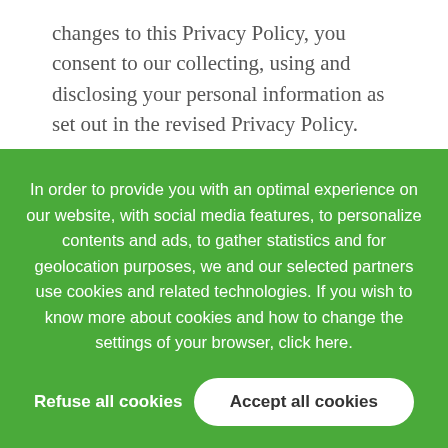changes to this Privacy Policy, you consent to our collecting, using and disclosing your personal information as set out in the revised Privacy Policy.
Contact Us
All comments, questions, concerns or complaints
In order to provide you with an optimal experience on our website, with social media features, to personalize contents and ads, to gather statistics and for geolocation purposes, we and our selected partners use cookies and related technologies. If you wish to know more about cookies and how to change the settings of your browser, click here.
Refuse all cookies
Accept all cookies